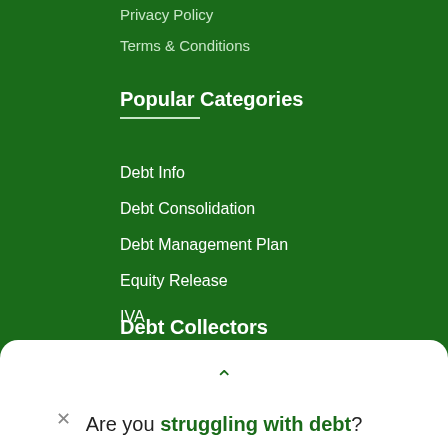Privacy Policy
Terms & Conditions
Popular Categories
Debt Info
Debt Consolidation
Debt Management Plan
Equity Release
IVA
Secured Loans
Debt Collectors
Are you struggling with debt?